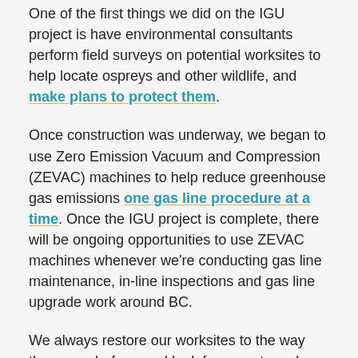One of the first things we did on the IGU project is have environmental consultants perform field surveys on potential worksites to help locate ospreys and other wildlife, and make plans to protect them.
Once construction was underway, we began to use Zero Emission Vacuum and Compression (ZEVAC) machines to help reduce greenhouse gas emissions one gas line procedure at a time. Once the IGU project is complete, there will be ongoing opportunities to use ZEVAC machines whenever we're conducting gas line maintenance, in-line inspections and gas line upgrade work around BC.
We always restore our worksites to the way they were before, and look for ways to make them better. When it comes time to restore our IGU worksites in Kenna Cartwright Park in Kamloops, the findings from an invasive plant species study we supported will help us restore them with native plants that are resilient, and